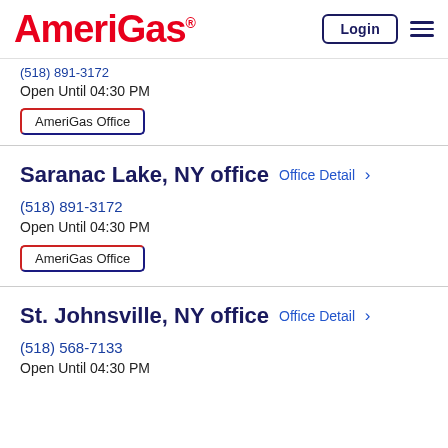[Figure (logo): AmeriGas logo in red with registered trademark symbol]
Login
(518) 891-3172 (partial, cut off at top)
Open Until 04:30 PM
AmeriGas Office
Saranac Lake, NY office
Office Detail >
(518) 891-3172
Open Until 04:30 PM
AmeriGas Office
St. Johnsville, NY office
Office Detail >
(518) 568-7133
Open Until 04:30 PM